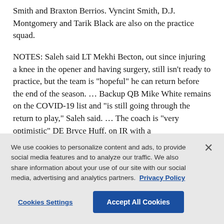Smith and Braxton Berrios. Vyncint Smith, D.J. Montgomery and Tarik Black are also on the practice squad.
NOTES: Saleh said LT Mekhi Becton, out since injuring a knee in the opener and having surgery, still isn't ready to practice, but the team is "hopeful" he can return before the end of the season. ... Backup QB Mike White remains on the COVID-19 list and "is still going through the return to play," Saleh said. ... The coach is "very optimistic" DE Bryce Huff, on IR with a
We use cookies to personalize content and ads, to provide social media features and to analyze our traffic. We also share information about your use of our site with our social media, advertising and analytics partners. Privacy Policy
Cookies Settings   Accept All Cookies